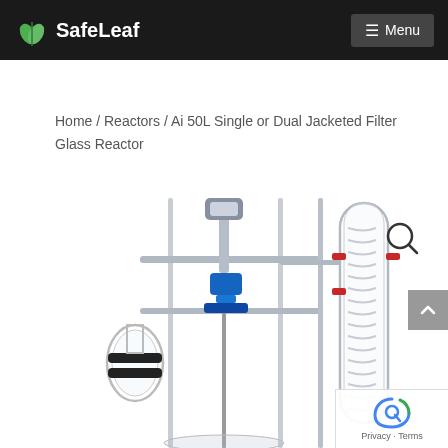SafeLeaf | Menu
Home / Reactors / Ai 50L Single or Dual Jacketed Filter Glass Reactor
[Figure (photo): Laboratory glass reactor equipment — Ai 50L Single or Dual Jacketed Filter Glass Reactor showing glass vessels, metal support frame, blue motor mount, and spiral condenser column.]